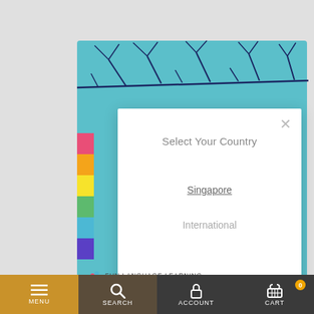[Figure (screenshot): Mobile website screenshot showing a 'Select Your Country' modal dialog over a teal background with decorative branches. Below the modal is a bottom navigation bar with Menu, Search, Account, and Cart tabs.]
Select Your Country
Singapore
International
FUN LANGUAGE LEARNING
MENU  SEARCH  ACCOUNT  CART